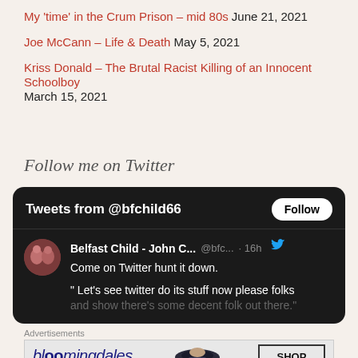My 'time' in the Crum Prison – mid 80s  June 21, 2021
Joe McCann – Life & Death  May 5, 2021
Kriss Donald – The Brutal Racist Killing of an Innocent Schoolboy  March 15, 2021
Follow me on Twitter
[Figure (screenshot): Embedded Twitter widget showing tweets from @bfchild66 with a Follow button. A tweet from Belfast Child - John C... (@bfc...) posted 16h ago reads: 'Come on Twitter hunt it down.' followed by a quoted tweet beginning: '" Let's see twitter do its stuff now please folks and show there's some decent folk out there."']
Advertisements
[Figure (other): Bloomingdale's advertisement: 'View Today's Top Deals!' with SHOP NOW > button and woman wearing large hat]